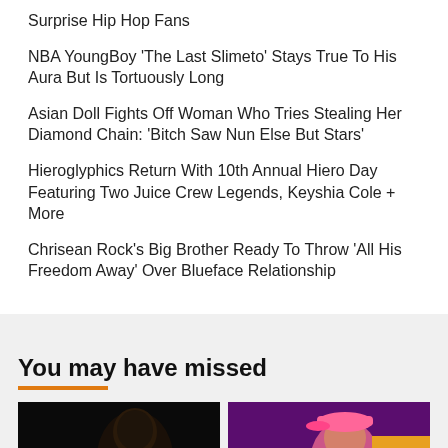Surprise Hip Hop Fans
NBA YoungBoy 'The Last Slimeto' Stays True To His Aura But Is Tortuously Long
Asian Doll Fights Off Woman Who Tries Stealing Her Diamond Chain: 'Bitch Saw Nun Else But Stars'
Hieroglyphics Return With 10th Annual Hiero Day Featuring Two Juice Crew Legends, Keyshia Cole + More
Chrisean Rock's Big Brother Ready To Throw 'All His Freedom Away' Over Blueface Relationship
You may have missed
[Figure (photo): Dark photo of a person, possibly a face in the shadows]
[Figure (photo): Photo of a person wearing a pink cap against a purple/magenta background]